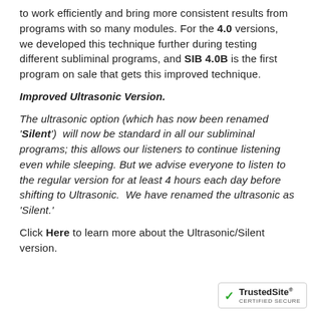to work efficiently and bring more consistent results from programs with so many modules. For the 4.0 versions, we developed this technique further during testing different subliminal programs, and SIB 4.0B is the first program on sale that gets this improved technique.
Improved Ultrasonic Version.
The ultrasonic option (which has now been renamed 'Silent')  will now be standard in all our subliminal programs; this allows our listeners to continue listening even while sleeping. But we advise everyone to listen to the regular version for at least 4 hours each day before shifting to Ultrasonic.  We have renamed the ultrasonic as 'Silent.'
Click Here to learn more about the Ultrasonic/Silent version.
[Figure (logo): TrustedSite CERTIFIED SECURE badge with green checkmark]